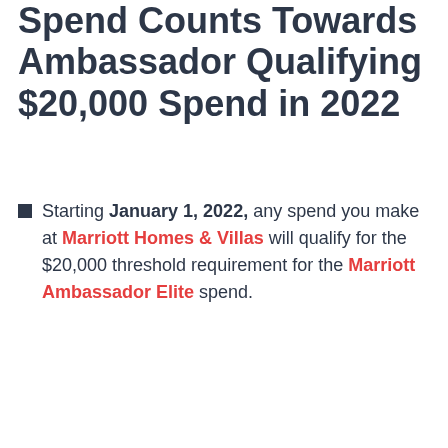Spend Counts Towards Ambassador Qualifying $20,000 Spend in 2022
Starting January 1, 2022, any spend you make at Marriott Homes & Villas will qualify for the $20,000 threshold requirement for the Marriott Ambassador Elite spend.
[Figure (other): Video player placeholder showing 'No compatible source was found for this media.' with an X button and a red bar control]